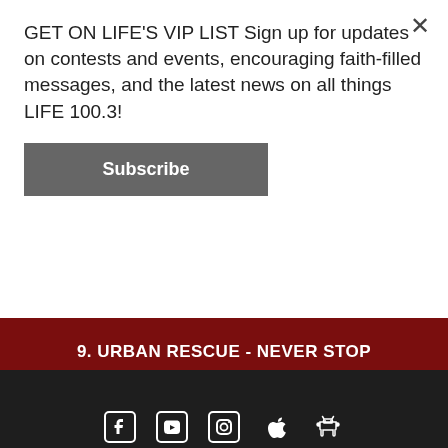GET ON LIFE'S VIP LIST Sign up for updates on contests and events, encouraging faith-filled messages, and the latest news on all things LIFE 100.3!
Subscribe
9. URBAN RESCUE - NEVER STOP
10. JIMI CRAVITY - MORE OF YOU
[Figure (other): Social media icons: Facebook, YouTube, Instagram, Apple, Android]
© 2022 Trust Communications Ministries – Life 100.3
Powered by Computer Elite
Home | On-Air Feature Schedule | Contests | Concert Guide | Movie Tour | About Us | Contact Us | Advertise on LIFE